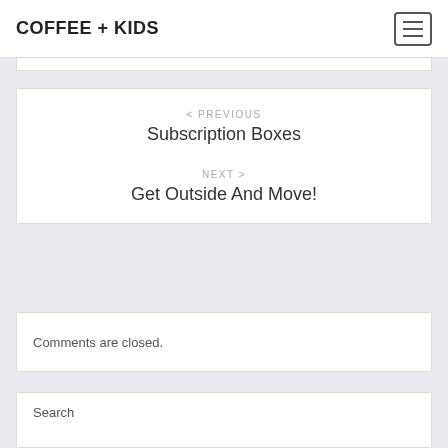COFFEE + KIDS
< PREVIOUS
Subscription Boxes
NEXT >
Get Outside And Move!
Comments are closed.
Search